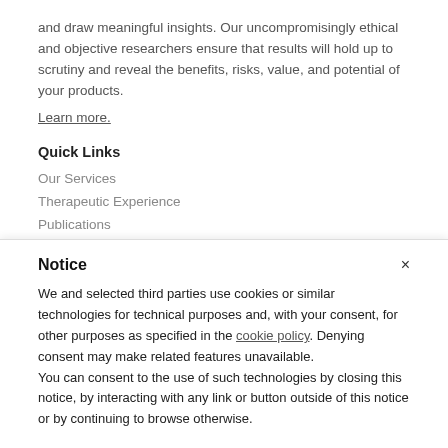and draw meaningful insights. Our uncompromisingly ethical and objective researchers ensure that results will hold up to scrutiny and reveal the benefits, risks, value, and potential of your products. Learn more.
Quick Links
Our Services
Therapeutic Experience
Publications
Resources
Notice
We and selected third parties use cookies or similar technologies for technical purposes and, with your consent, for other purposes as specified in the cookie policy. Denying consent may make related features unavailable.
You can consent to the use of such technologies by closing this notice, by interacting with any link or button outside of this notice or by continuing to browse otherwise.